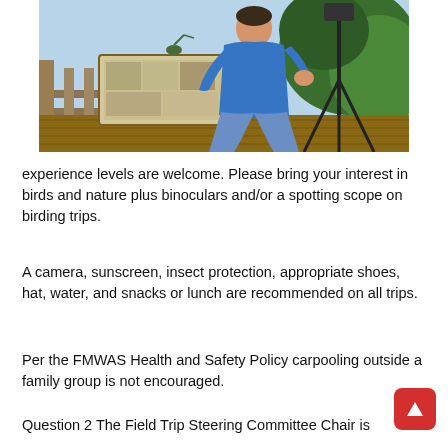[Figure (photo): A person in a blue sweatshirt bending over a display board/sign on a wooden deck boardwalk, with a camera tripod visible on the right and green foliage in the background. The scene appears to be at a nature/birding observation area.]
experience levels are welcome. Please bring your interest in birds and nature plus binoculars and/or a spotting scope on birding trips.
A camera, sunscreen, insect protection, appropriate shoes, hat, water, and snacks or lunch are recommended on all trips.
Per the FMWAS Health and Safety Policy carpooling outside a family group is not encouraged.
Question 2 The Field Trip Steering Committee Chair is